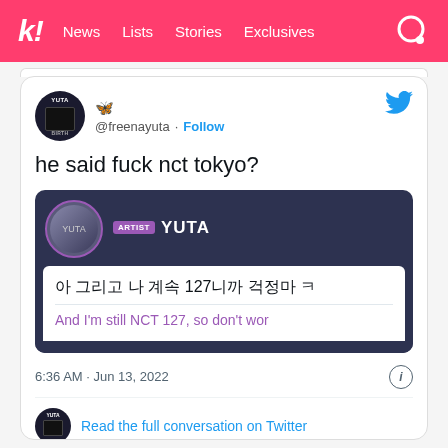k! News Lists Stories Exclusives
[Figure (screenshot): Tweet screenshot from @freenayuta showing the text 'he said fuck nct tokyo?' with an embedded Weverse-style card from ARTIST YUTA containing Korean text '아 그리고 나 계속 127니까 걱정마 ㅋ' and English translation 'And I\'m still NCT 127, so don\'t wor']
he said fuck nct tokyo?
아 그리고 나 계속 127니까 걱정마 ㅋ
And I'm still NCT 127, so don't wor
6:36 AM · Jun 13, 2022
Read the full conversation on Twitter